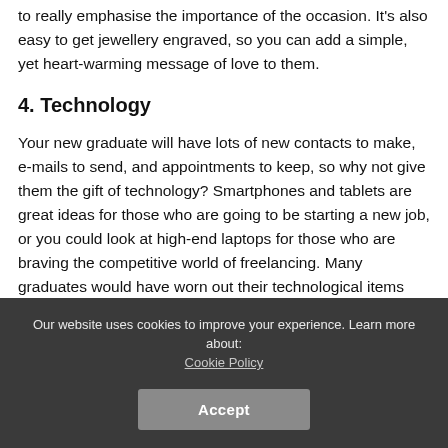to really emphasise the importance of the occasion. It's also easy to get jewellery engraved, so you can add a simple, yet heart-warming message of love to them.
4. Technology
Your new graduate will have lots of new contacts to make, e-mails to send, and appointments to keep, so why not give them the gift of technology? Smartphones and tablets are great ideas for those who are going to be starting a new job, or you could look at high-end laptops for those who are braving the competitive world of freelancing. Many graduates would have worn out their technological items through writing essays and studying, and something shiny and new can really help encourage them.
Our website uses cookies to improve your experience. Learn more about: Cookie Policy
Accept